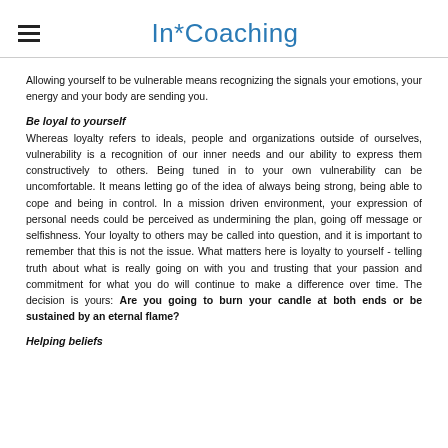In*Coaching
Allowing yourself to be vulnerable means recognizing the signals your emotions, your energy and your body are sending you.
Be loyal to yourself
Whereas loyalty refers to ideals, people and organizations outside of ourselves, vulnerability is a recognition of our inner needs and our ability to express them constructively to others. Being tuned in to your own vulnerability can be uncomfortable. It means letting go of the idea of always being strong, being able to cope and being in control. In a mission driven environment, your expression of personal needs could be perceived as undermining the plan, going off message or selfishness. Your loyalty to others may be called into question, and it is important to remember that this is not the issue. What matters here is loyalty to yourself - telling truth about what is really going on with you and trusting that your passion and commitment for what you do will continue to make a difference over time. The decision is yours: Are you going to burn your candle at both ends or be sustained by an eternal flame?
Helping beliefs